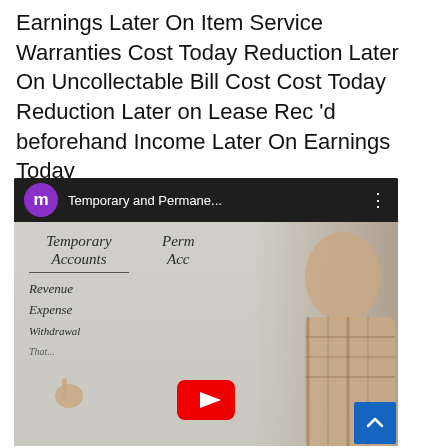Earnings Later On Item Service Warranties Cost Today Reduction Later On Uncollectable Bill Cost Cost Today Reduction Later on Lease Rec 'd beforehand Income Later On Earnings Today
[Figure (screenshot): YouTube video thumbnail showing a person at a whiteboard with 'Temporary Accounts' and partial 'Permanent Accounts' headings. Under Temporary Accounts: Revenue, Expense, Withdrawal listed. Video title: 'Temporary and Permane...']